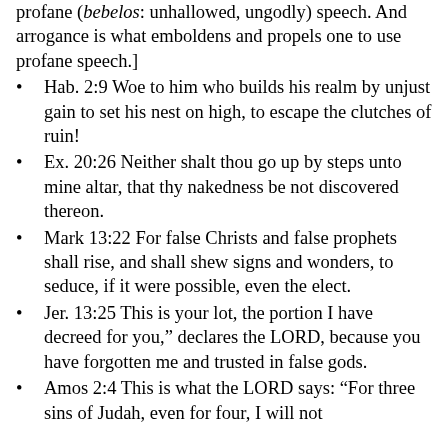profane (bebelos: unhallowed, ungodly) speech. And arrogance is what emboldens and propels one to use profane speech.]
Hab. 2:9 Woe to him who builds his realm by unjust gain to set his nest on high, to escape the clutches of ruin!
Ex. 20:26 Neither shalt thou go up by steps unto mine altar, that thy nakedness be not discovered thereon.
Mark 13:22 For false Christs and false prophets shall rise, and shall shew signs and wonders, to seduce, if it were possible, even the elect.
Jer. 13:25 This is your lot, the portion I have decreed for you," declares the LORD, because you have forgotten me and trusted in false gods.
Amos 2:4 This is what the LORD says: "For three sins of Judah, even for four, I will not